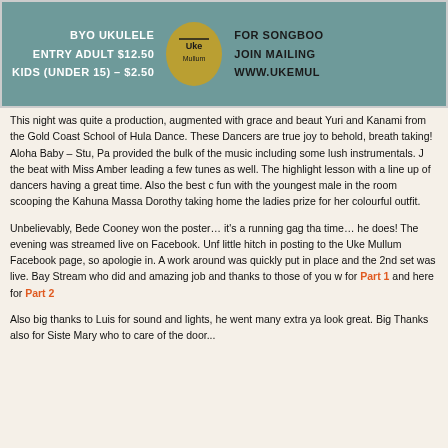[Figure (illustration): Uke Mullum event banner with teal background, showing event details: BYO UKULELE, ENTRY ADULT $12.50, KIDS (UNDER 15) - $2.50, logo in center, FOR SONGBOO, JOIN MAILING, WWW.UKEMUL on right side]
This night was quite a production, augmented with grace and beauty by Yuri and Kanami from the Gold Coast School of Hula Dance. These Dancers are true joy to behold, breath taking! Aloha Baby – Stu, Pa provided the bulk of the music including some lush instrumentals. J the beat with Miss Amber leading a few tunes as well. The highlight lesson with a line up of dancers having a great time. Also the best fun with the youngest male in the room scooping the Kahuna Massa Dorothy taking home the ladies prize for her colourful outfit.
Unbelievably, Bede Cooney won the poster… it's a running gag tha time… he does! The evening was streamed live on Facebook. Unf little hitch in posting to the Uke Mullum Facebook page, so apologie in. A work around was quickly put in place and the 2nd set was live. Bay Stream who did and amazing job and thanks to those of you w for Part 1 and here for Part 2
Also big thanks to Luis for sound and lights, he went many extra ya look great. Big Thanks also for Siste Mary who to care of the door...